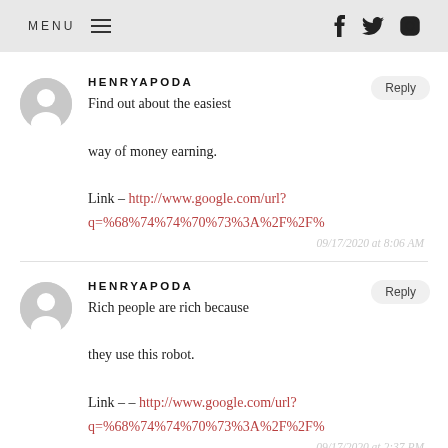MENU
HENRYAPODA
Find out about the easiest way of money earning.
Link – http://www.google.com/url?q=%68%74%74%70%73%3A%2F%2F%
09/17/2020 at 8:06 AM
HENRYAPODA
Rich people are rich because they use this robot.
Link – – http://www.google.com/url?q=%68%74%74%70%73%3A%2F%2F%
09/17/2020 at 2:37 PM